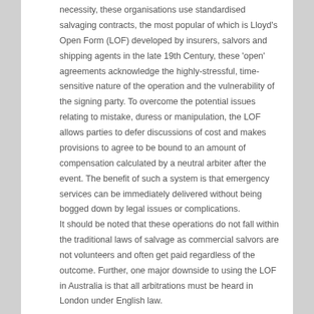necessity, these organisations use standardised salvaging contracts, the most popular of which is Lloyd's Open Form (LOF) developed by insurers, salvors and shipping agents in the late 19th Century, these 'open' agreements acknowledge the highly-stressful, time-sensitive nature of the operation and the vulnerability of the signing party. To overcome the potential issues relating to mistake, duress or manipulation, the LOF allows parties to defer discussions of cost and makes provisions to agree to be bound to an amount of compensation calculated by a neutral arbiter after the event. The benefit of such a system is that emergency services can be immediately delivered without being bogged down by legal issues or complications.
It should be noted that these operations do not fall within the traditional laws of salvage as commercial salvors are not volunteers and often get paid regardless of the outcome. Further, one major downside to using the LOF in Australia is that all arbitrations must be heard in London under English law.